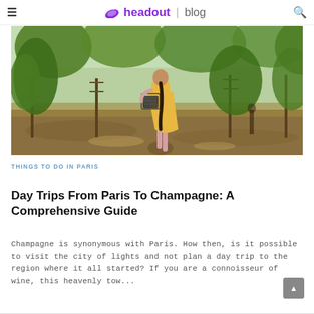≡  headout | blog  🔍
[Figure (photo): A woman in a yellow dress carrying a crate walks through lush green vineyard rows on a sunny day.]
THINGS TO DO IN PARIS
Day Trips From Paris To Champagne: A Comprehensive Guide
Champagne is synonymous with Paris. How then, is it possible to visit the city of lights and not plan a day trip to the region where it all started? If you are a connoisseur of wine, this heavenly tow...